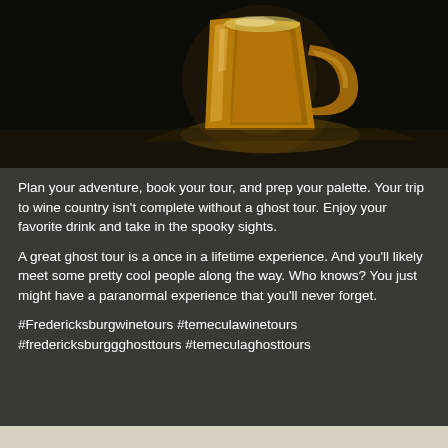[Figure (photo): A golden beer mug illuminated against a very dark, almost black background, sitting on what appears to be a wooden surface. The mug glows with warm amber/gold light.]
Plan your adventure, book your tour, and prep your palette. Your trip to wine country isn't complete without a ghost tour. Enjoy your favorite drink and take in the spooky sights.
A great ghost tour is a once in a lifetime experience. And you'll likely meet some pretty cool people along the way. Who knows? You just might have a paranormal experience that you'll never forget.
#Fredericksburgwinetours #temeculawinetours #fredericksburggghosttours #temeculaghosttours